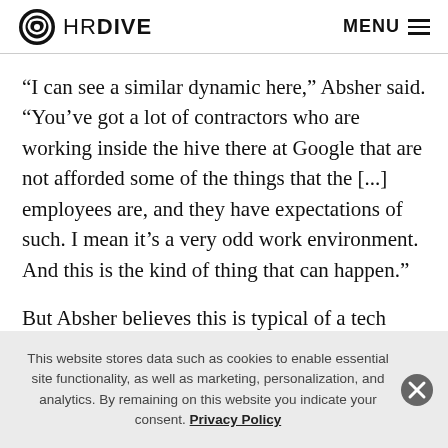HR DIVE | MENU
“I can see a similar dynamic here,” Absher said. “You’ve got a lot of contractors who are working inside the hive there at Google that are not afforded some of the things that the [...] employees are, and they have expectations of such. I mean it’s a very odd work environment. And this is the kind of thing that can happen.”
But Absher believes this is typical of a tech industry that has become increasingly reliant on contingent workers
This website stores data such as cookies to enable essential site functionality, as well as marketing, personalization, and analytics. By remaining on this website you indicate your consent. Privacy Policy